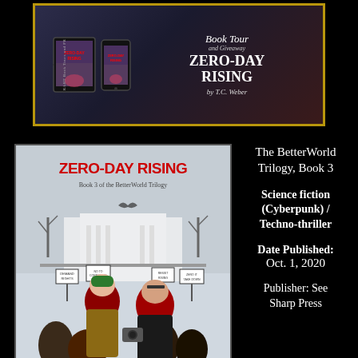[Figure (illustration): Book Tour banner for Zero-Day Rising by T.C. Weber showing book cover on tablet and phone devices alongside text 'Book Tour and Giveaway ZERO-DAY RISING by T.C. Weber']
[Figure (illustration): Book cover of Zero-Day Rising showing two red-haired women at a protest in front of a government building in winter]
The BetterWorld Trilogy, Book 3
Science fiction (Cyberpunk) / Techno-thriller
Date Published: Oct. 1, 2020
Publisher: See Sharp Press